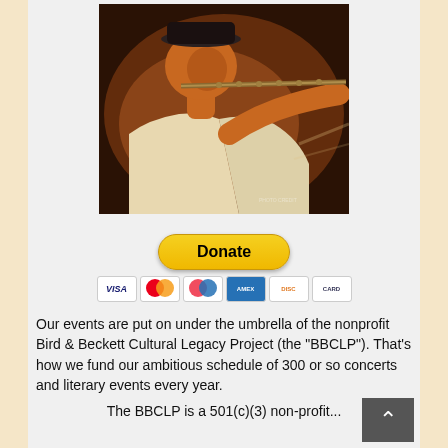[Figure (photo): Man in a black hat playing a flute, photographed from the side with warm orange/brown lighting, performing on stage]
[Figure (other): PayPal Donate button (yellow rounded rectangle) with credit card icons below: Visa, Mastercard, Maestro, American Express, Discover, and another card]
Our events are put on under the umbrella of the nonprofit Bird & Beckett Cultural Legacy Project (the "BBCLP"). That's how we fund our ambitious schedule of 300 or so concerts and literary events every year.
The BBCLP is a 501(c)(3) non-profit...